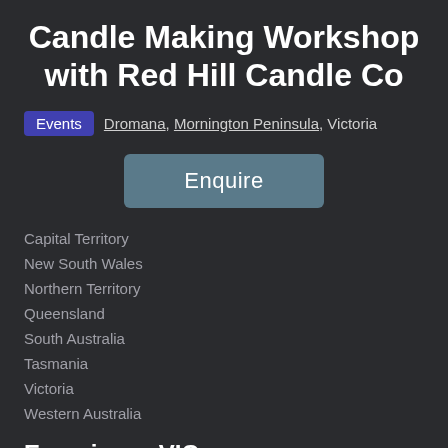Candle Making Workshop with Red Hill Candle Co
Events  Dromana, Mornington Peninsula, Victoria
Enquire
Capital Territory
New South Wales
Northern Territory
Queensland
South Australia
Tasmania
Victoria
Western Australia
Experience VIC
Hotels and Accommodation
Attractions and Tours